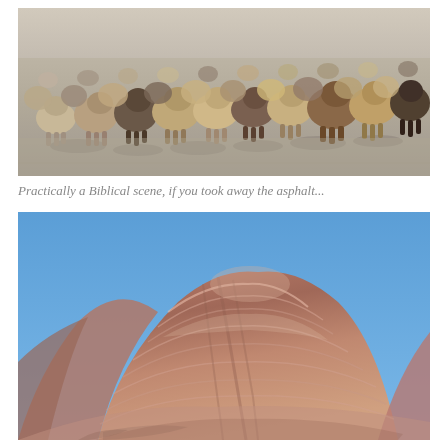[Figure (photo): A herd of sheep walking away from the camera on a flat asphalt or dirt road in a dry, arid landscape. Sheep are various shades of brown, tan, and black, viewed from behind. The ground is pale grey. The scene has a dusty, desert-like quality.]
Practically a Biblical scene, if you took away the asphalt...
[Figure (photo): A dramatic eroded hill or badland formation with a dome-shaped peak against a clear blue sky. The terrain has distinctive layered erosion patterns in shades of reddish-brown, mauve, and tan. The ridges and gullies create a rippled texture across the surface.]